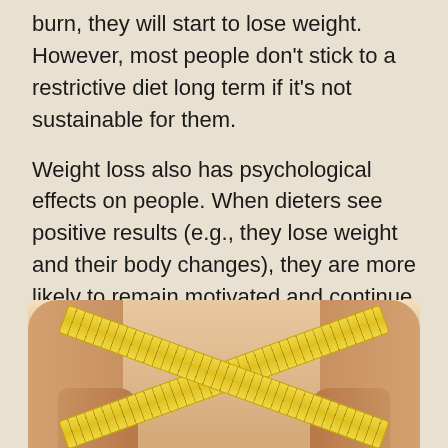burn, they will start to lose weight. However, most people don't stick to a restrictive diet long term if it's not sustainable for them.
Weight loss also has psychological effects on people. When dieters see positive results (e.g., they lose weight and their body changes), they are more likely to remain motivated and continue working towards their goal of a healthy weight.
[Figure (photo): A person's torso with a yellow measuring tape crossed around their waist, showing weight measurement.]